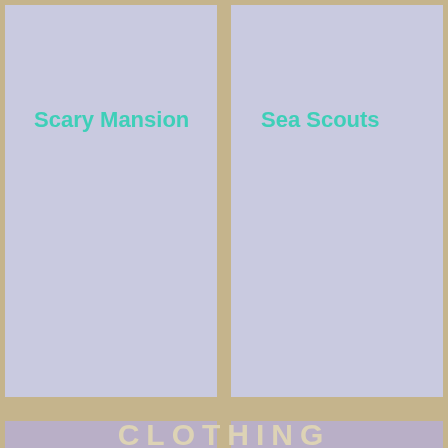[Figure (infographic): A 2x2 grid of colored rectangles on a tan/khaki background. Top two cells are light lavender/periwinkle blue, bottom two cells are muted lavender/mauve. Each cell contains a teal/turquoise bold label text. Top-left: 'Scary Mansion', Top-right: 'Sea Scouts', Bottom-left: 'Silentist', Bottom-right: 'Weird Weeds'. Below the grid, partially visible text reads 'CLOTHING' in cream/pale color on tan background.]